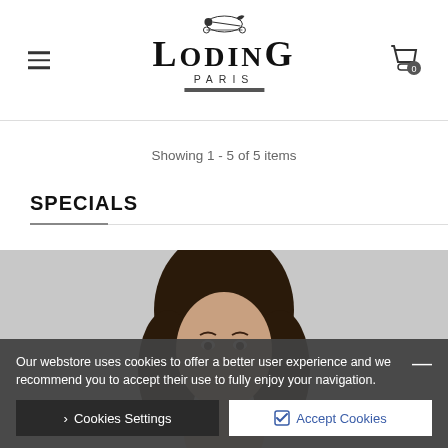Loding Paris — navigation header with hamburger menu and cart icon
Showing 1 - 5 of 5 items
SPECIALS
[Figure (photo): Man with long dark hair, partial face visible, product model photo for Loding Paris specials section]
Our webstore uses cookies to offer a better user experience and we recommend you to accept their use to fully enjoy your navigation.